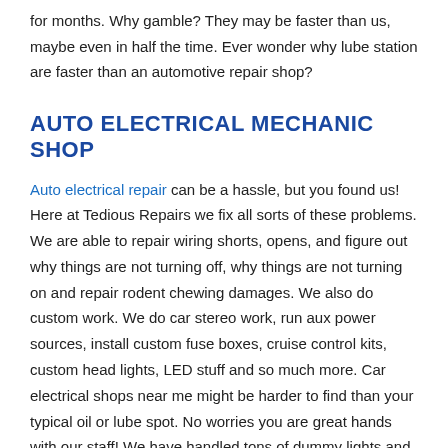for months. Why gamble? They may be faster than us, maybe even in half the time. Ever wonder why lube station are faster than an automotive repair shop?
AUTO ELECTRICAL MECHANIC SHOP
Auto electrical repair can be a hassle, but you found us! Here at Tedious Repairs we fix all sorts of these problems. We are able to repair wiring shorts, opens, and figure out why things are not turning off, why things are not turning on and repair rodent chewing damages. We also do custom work. We do car stereo work, run aux power sources, install custom fuse boxes, cruise control kits, custom head lights, LED stuff and so much more. Car electrical shops near me might be harder to find than your typical oil or lube spot. No worries you are great hands with our staff! We have handled tons of dummy lights and electrical gremlins.